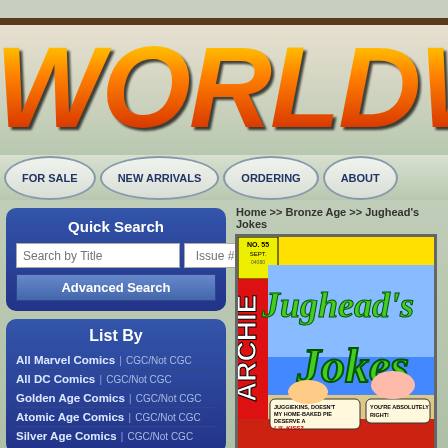[Figure (screenshot): Website header with 'WORLDWIDE C' logo text in yellow-orange-red gradient, navigation bar with oval buttons: FOR SALE, NEW ARRIVALS, ORDERING, ABOUT]
Quick Search
Search by Title | Issue # | Find | Advanced Search
List By
All Marvel Comics | CGC/Not CGC
All DC Comics | CGC/Not CGC
Golden Age Comics | CGC/Not CGC
Atomic Age Comics | CGC/Not CGC
Silver Age Comics | CGC/Not CGC
Home >> Bronze Age >> Jughead's Jokes
[Figure (photo): Cover of Jughead's Jokes comic book No. 55, Sept, Archie series. Shows Jughead and a girl at the beach with speech bubbles: 'JUGGIEKINS, DOESN'T MY HOME-BAKED PIE DESERVE A LIL KISS?' and 'YOU'RE ABSOLUTELY RIGHT!']